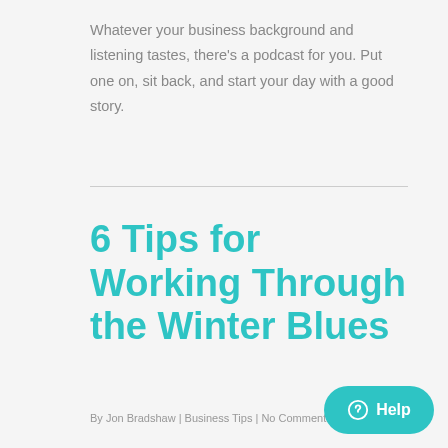Whatever your business background and listening tastes, there's a podcast for you. Put one on, sit back, and start your day with a good story.
6 Tips for Working Through the Winter Blues
By Jon Bradshaw | Business Tips | No Comments